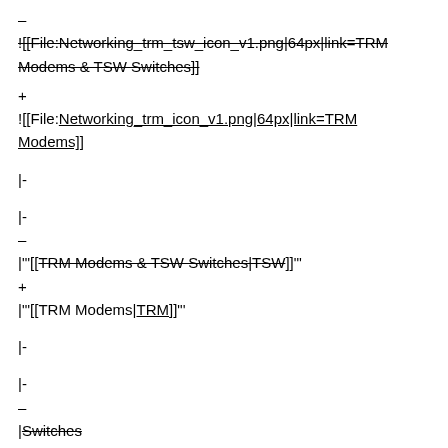–
![[File:Networking_trm_tsw_icon_v1.png|64px|link=TRM Modems & TSW Switches]]
+
![[File:Networking_trm_icon_v1.png|64px|link=TRM Modems]]
|-
|-
–
|"'[[TRM Modems & TSW Switches|TSW]]"'
+
|"'[[TRM Modems|TRM]]"'
|-
|-
–
|Switches
|-